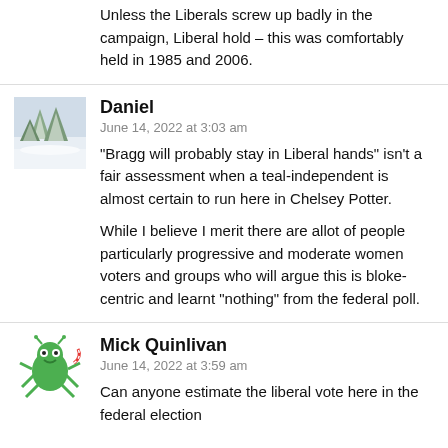Unless the Liberals screw up badly in the campaign, Liberal hold – this was comfortably held in 1985 and 2006.
Daniel
June 14, 2022 at 3:03 am
“Bragg will probably stay in Liberal hands” isn't a fair assessment when a teal-independent is almost certain to run here in Chelsey Potter.

While I believe I merit there are allot of people particularly progressive and moderate women voters and groups who will argue this is bloke-centric and learnt “nothing” from the federal poll.
Mick Quinlivan
June 14, 2022 at 3:59 am
Can anyone estimate the liberal vote here in the federal election